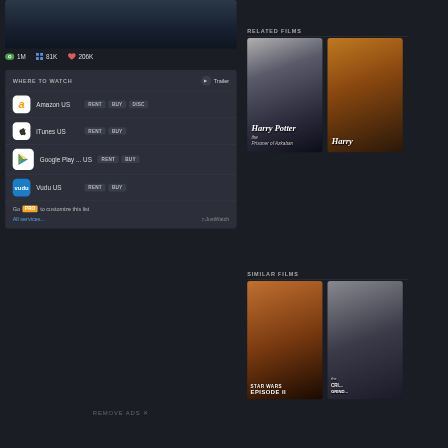[Figure (screenshot): Dark movie poster image at top left]
👁 1M  ⊞ 81K  ♥ 206K
WHERE TO WATCH
▶ Trailer
Amazon US  RENT  BUY  DISC
iTunes US  RENT  BUY
Google Play ... US  RENT  BUY
Vudu US  RENT  BUY
Go PRO to customize this list
All services...
▷JustWatch
REMOVE ADS ✕
RELATED FILMS
[Figure (photo): Harry Potter and the Prisoner of Azkaban movie poster]
[Figure (photo): Harry Potter movie poster (golden/warm toned)]
SIMILAR FILMS
[Figure (photo): Star Wars Episode II movie poster]
[Figure (photo): The Crimson something movie poster - dark tones]